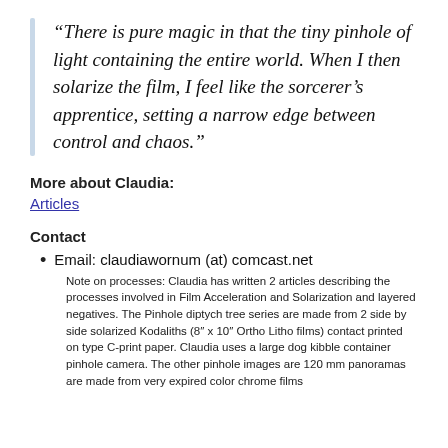“There is pure magic in that the tiny pinhole of light containing the entire world. When I then solarize the film, I feel like the sorcerer’s apprentice, setting a narrow edge between control and chaos.”
More about Claudia:
Articles
Contact
Email: claudiawornum (at) comcast.net
Note on processes: Claudia has written 2 articles describing the processes involved in Film Acceleration and Solarization and layered negatives. The Pinhole diptych tree series are made from 2 side by side solarized Kodaliths (8″ x 10″ Ortho Litho films) contact printed on type C-print paper. Claudia uses a large dog kibble container pinhole camera. The other pinhole images are 120 mm panoramas are made from very expired color chrome films